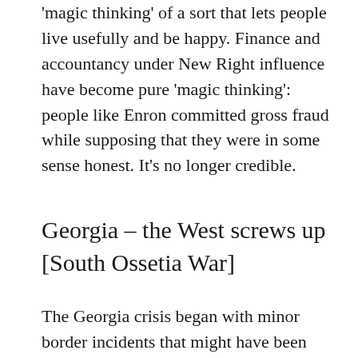'magic thinking' of a sort that lets people live usefully and be happy. Finance and accountancy under New Right influence have become pure 'magic thinking': people like Enron committed gross fraud while supposing that they were in some sense honest. It's no longer credible.
Georgia – the West screws up [South Ossetia War]
The Georgia crisis began with minor border incidents that might have been anyone's fault.